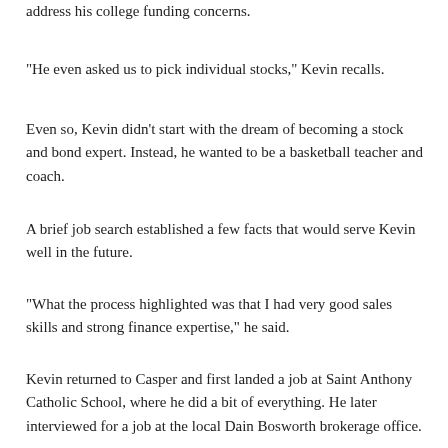address his college funding concerns.
“He even asked us to pick individual stocks,” Kevin recalls.
Even so, Kevin didn’t start with the dream of becoming a stock and bond expert. Instead, he wanted to be a basketball teacher and coach.
A brief job search established a few facts that would serve Kevin well in the future.
“What the process highlighted was that I had very good sales skills and strong finance expertise,” he said.
Kevin returned to Casper and first landed a job at Saint Anthony Catholic School, where he did a bit of everything. He later interviewed for a job at the local Dain Bosworth brokerage office.
“I was confident in my skills, but because of my age, I wasn’t sure